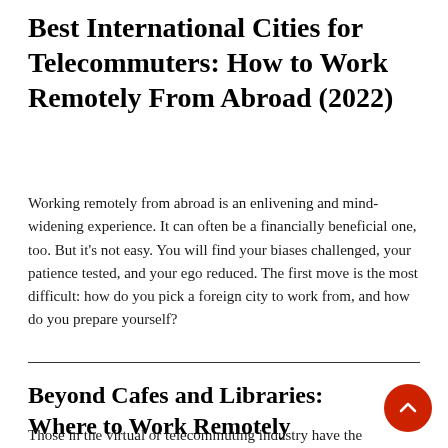Best International Cities for Telecommuters: How to Work Remotely From Abroad (2022)
Working remotely from abroad is an enlivening and mind-widening experience. It can often be a financially beneficial one, too. But it's not easy. You will find your biases challenged, your patience tested, and your ego reduced. The first move is the most difficult: how do you pick a foreign city to work from, and how do you prepare yourself?
Beyond Cafes and Libraries: Where to Work Remotely
Those in the virtual or telecommuting industry have the